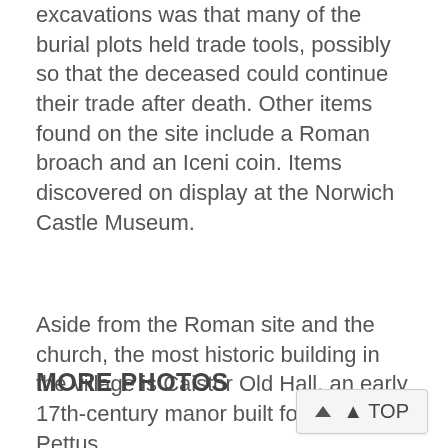excavations was that many of the burial plots held trade tools, possibly so that the deceased could continue their trade after death. Other items found on the site include a Roman broach and an Iceni coin. Items discovered on display at the Norwich Castle Museum.
Aside from the Roman site and the church, the most historic building in the village is Caistor Old Hall, an early 17th-century manor built for Thomas Pettus.
MORE PHOTOS